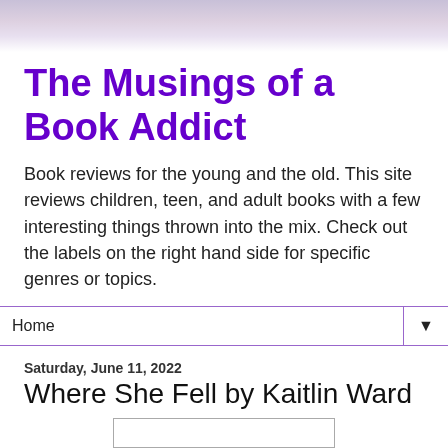[Figure (illustration): Soft purple-pink gradient banner header background]
The Musings of a Book Addict
Book reviews for the young and the old. This site reviews children, teen, and adult books with a few interesting things thrown into the mix. Check out the labels on the right hand side for specific genres or topics.
Home ▼
Saturday, June 11, 2022
Where She Fell by Kaitlin Ward
[Figure (illustration): Partial white/blank book cover image box at the bottom of the page]